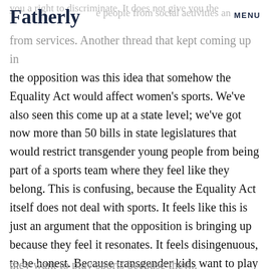Fatherly | MENU
you a right to discriminate. It does not give you the right to exclude people from social activities and from services. Another thread that kept coming up in the opposition was this idea that somehow the Equality Act would affect women’s sports. We’ve also seen this come up at a state level; we’ve got now more than 50 bills in state legislatures that would restrict transgender young people from being part of a sports team where they feel like they belong. This is confusing, because the Equality Act itself does not deal with sports. It feels like this is just an argument that the opposition is bringing up because they feel it resonates. It feels disingenuous, to be honest. Because transgender kids want to play sports for the same reason that other kids want to play sports.
they want to play sports because they...